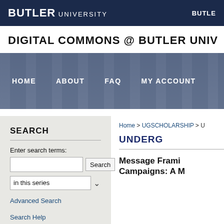BUTLER UNIVERSITY  BUTLE
DIGITAL COMMONS @ BUTLER UNIV
[Figure (photo): Hero image of a columned building interior with blue-gray overlay and navigation menu: HOME, ABOUT, FAQ, MY ACCOUNT]
SEARCH
Enter search terms:
in this series
Advanced Search
Search Help
Home > UGSCHOLARSHIP > U
UNDERG
Message Frami Campaigns: A M